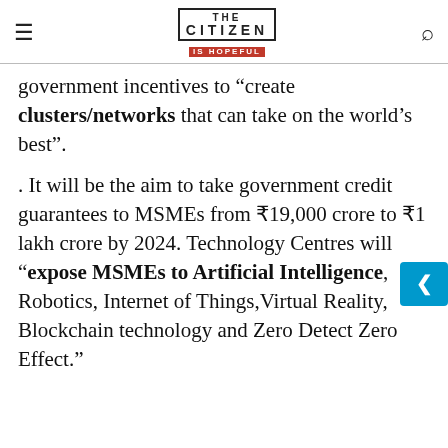THE CITIZEN IS HOPEFUL
government incentives to “create clusters/networks that can take on the world’s best”.
. It will be the aim to take government credit guarantees to MSMEs from ₹19,000 crore to ₹1 lakh crore by 2024. Technology Centres will “expose MSMEs to Artificial Intelligence, Robotics, Internet of Things,Virtual Reality, Blockchain technology and Zero Detect Zero Effect.”